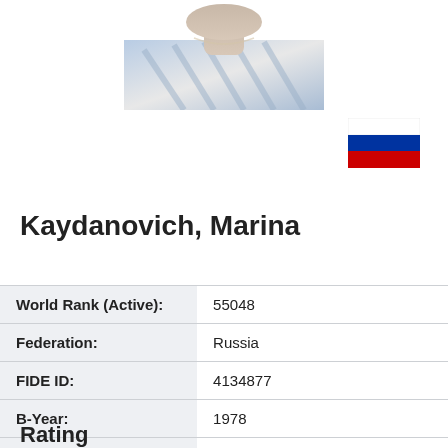[Figure (photo): Partial portrait photo of Marina Kaydanovich, showing shoulders and lower face, wearing a light blue/white plaid shirt]
[Figure (illustration): Russian flag — three horizontal stripes: white on top, blue in middle, red on bottom]
Kaydanovich, Marina
| World Rank (Active): | 55048 |
| Federation: | Russia |
| FIDE ID: | 4134877 |
| B-Year: | 1978 |
| Sex: | Female |
| FIDE title: | Woman Intl. Master |
Rating